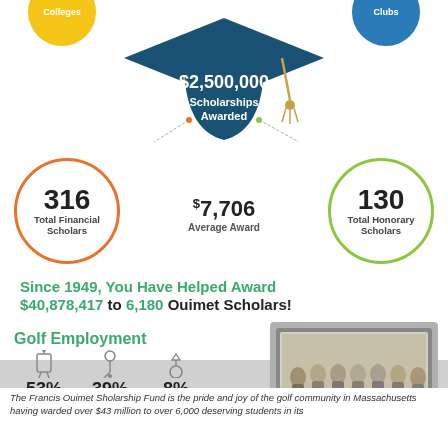[Figure (infographic): Graduation cap infographic with $2,500,000 Scholarships Awarded, flanked by yellow Colleges circle and blue Clubs circle at top, orange circle with 316 Total Financial Scholars on left, green circle with 130 Total Honorary Scholars on right, center stat $7,706 Average Award]
Since 1949, You Have Helped Award $40,878,417 to 6,180 Ouimet Scholars!
[Figure (infographic): Golf Employment breakdown: 53% Caddies, 39% Pro Shop, 8% Superintendent with icons]
[Figure (photo): Framed black and white photograph of a group of men]
The Francis Ouimet Sholarship Fund is the pride and joy of the golf community in Massachusetts having warded over $43 million to over 6,000 deserving students in its